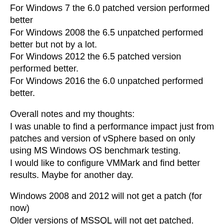For Windows 7 the 6.0 patched version performed better
For Windows 2008 the 6.5 unpatched performed better but not by a lot.
For Windows 2012 the 6.5 patched version performed better.
For Windows 2016 the 6.0 unpatched performed better.
Overall notes and my thoughts:
I was unable to find a performance impact just from patches and version of vSphere based on only using MS Windows OS benchmark testing.
I would like to configure VMMark and find better results. Maybe for another day.
Windows 2008 and 2012 will not get a patch (for now)
Older versions of MSSQL will not get patched.
I think your applications and Operating Systems will be